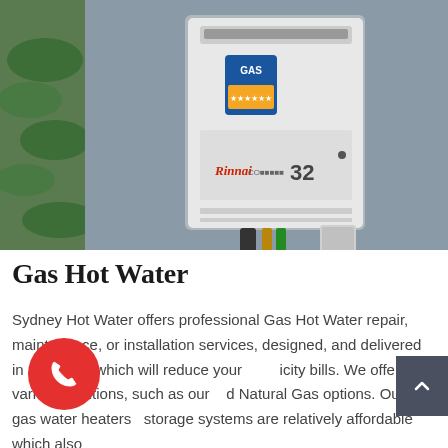[Figure (photo): A white Rinnai 32 instantaneous gas hot water unit mounted on a grey concrete wall outdoors, with copper pipe connections at the bottom and a green plant visible on the left side.]
Gas Hot Water
Sydney Hot Water offers professional Gas Hot Water repair, maintenance, or installation services, designed, and delivered in a manner which will reduce your icity bills. We offer various solutions, such as our d Natural Gas options. Our gas water heaters storage systems are relatively affordable which also display beneficial impacts on the environment.